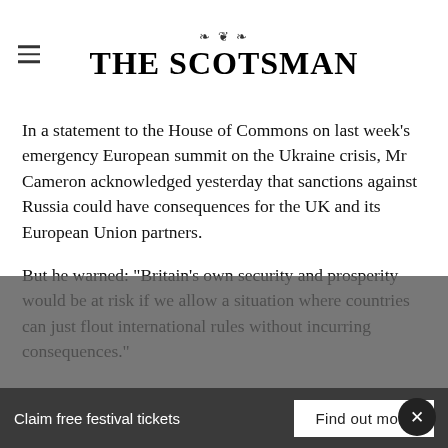THE SCOTSMAN
In a statement to the House of Commons on last week's emergency European summit on the Ukraine crisis, Mr Cameron acknowledged yesterday that sanctions against Russia could have consequences for the UK and its European Union partners.
But he warned: “Britain’s own security and prosperity would be at risk if we allow a situation where countries can just flout international rules without incurring consequences.”
Claim free festival tickets
Find out more